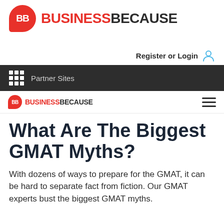[Figure (logo): BusinessBecause logo — red speech bubble with 'BB' text and BUSINESSBECAUSE brand name]
Register or Login
Partner Sites navigation bar
[Figure (logo): BusinessBecause mobile logo — small red speech bubble with BB and BUSINESSBECAUSE text, hamburger menu icon on right]
What Are The Biggest GMAT Myths?
With dozens of ways to prepare for the GMAT, it can be hard to separate fact from fiction. Our GMAT experts bust the biggest GMAT myths.